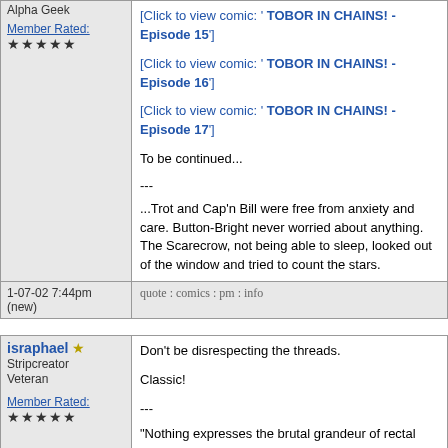Alpha Geek
Member Rated: ★★★★★
[Click to view comic: ' TOBOR IN CHAINS! - Episode 15']
[Click to view comic: ' TOBOR IN CHAINS! - Episode 16']
[Click to view comic: ' TOBOR IN CHAINS! - Episode 17']
To be continued...
---
...Trot and Cap'n Bill were free from anxiety and care. Button-Bright never worried about anything. The Scarecrow, not being able to sleep, looked out of the window and tried to count the stars.
1-07-02 7:44pm (new)
quote : comics : pm : info
israphael ★ Stripcreator Veteran
Member Rated: ★★★★★
Don't be disrespecting the threads.

Classic!

---
"Nothing expresses the brutal grandeur of rectal polyps and anal fistulae quite like the mother-tongue of Goethe."
1-07-02 8:23pm (new)
quote : comics : pm : info